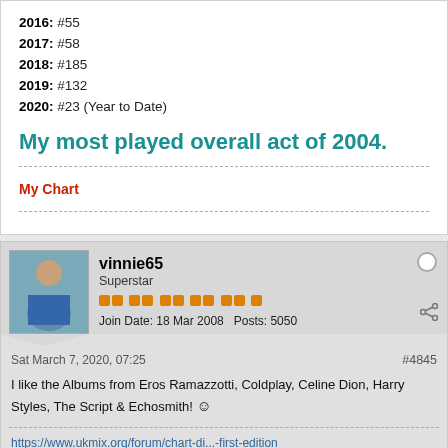2016: #55
2017: #58
2018: #185
2019: #132
2020: #23 (Year to Date)
My most played overall act of 2004.
My Chart
vinnie65
Superstar
Join Date: 18 Mar 2008   Posts: 5050
Sat March 7, 2020, 07:25
#4845
I like the Albums from Eros Ramazzotti, Coldplay, Celine Dion, Harry Styles, The Script & Echosmith! 🙂
https://www.ukmix.org/forum/chart-di...-first-edition